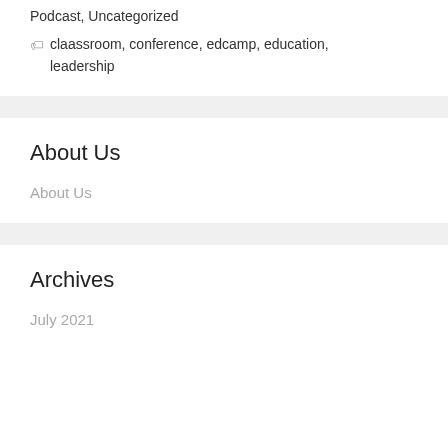Podcast, Uncategorized
claassroom, conference, edcamp, education, leadership
About Us
About Us
Archives
July 2021